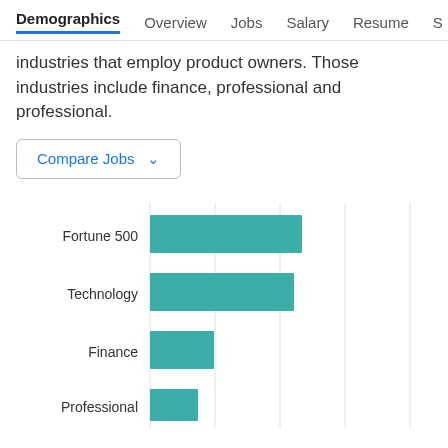Demographics  Overview  Jobs  Salary  Resume  S
industries that employ product owners. Those industries include finance, professional and professional.
Compare Jobs
[Figure (bar-chart): Industries employing product owners]